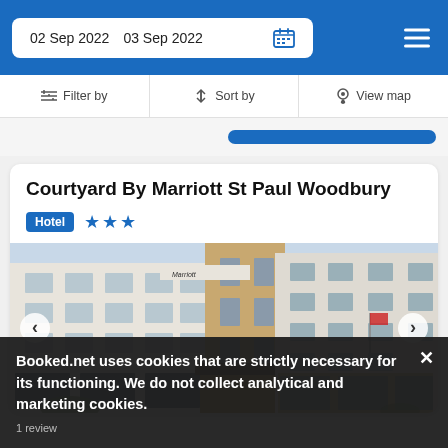02 Sep 2022  03 Sep 2022
Filter by  |  Sort by  |  View map
Courtyard By Marriott St Paul Woodbury
Hotel ★★★
[Figure (photo): Exterior photo of Courtyard By Marriott St Paul Woodbury hotel building, multi-story beige/white structure with Marriott branding visible]
Booked.net uses cookies that are strictly necessary for its functioning. We do not collect analytical and marketing cookies.
1 review